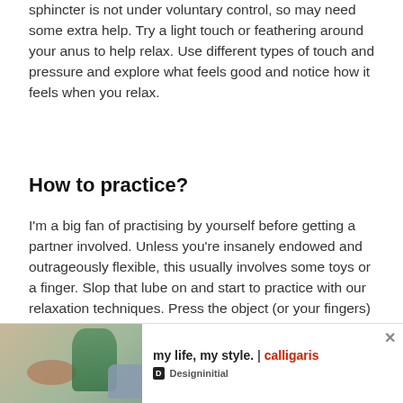sphincter is not under voluntary control, so may need some extra help. Try a light touch or feathering around your anus to help relax. Use different types of touch and pressure and explore what feels good and notice how it feels when you relax.
How to practice?
I'm a big fan of practising by yourself before getting a partner involved. Unless you're insanely endowed and outrageously flexible, this usually involves some toys or a finger. Slop that lube on and start to practice with our relaxation techniques. Press the object (or your fingers) against the opening and see if you can feel the external and internal muscles relax. Go slow at first, until you feel the inner sphincter relax. After this, you shoul[d] … pleasu[re] … ow
[Figure (other): Advertisement banner: 'my life, my style. | calligaris' with a photo of furniture/interior design items and Designinitial logo. Close button X visible.]